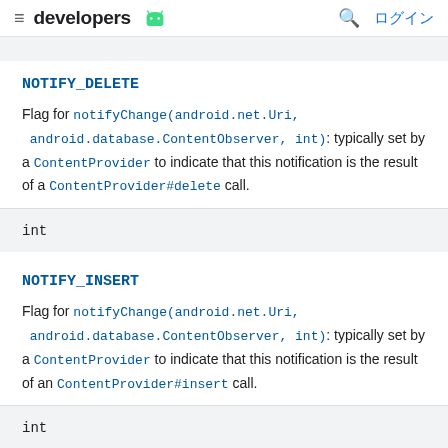developers  ログイン
NOTIFY_DELETE
Flag for notifyChange(android.net.Uri, android.database.ContentObserver, int): typically set by a ContentProvider to indicate that this notification is the result of a ContentProvider#delete call.
int
NOTIFY_INSERT
Flag for notifyChange(android.net.Uri, android.database.ContentObserver, int): typically set by a ContentProvider to indicate that this notification is the result of an ContentProvider#insert call.
int